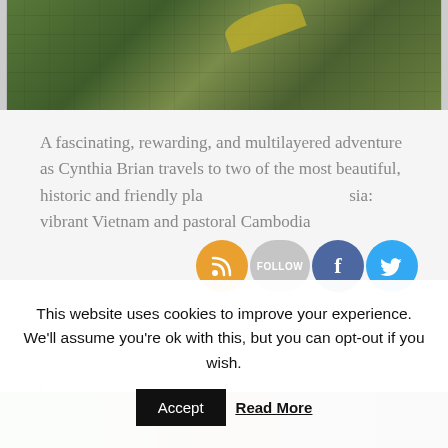[Figure (photo): Photo of mossy stone ruins with green vegetation and a yellow element, partially visible at top of page]
A fascinating, rewarding, and multilayered adventure as Cynthia Brian travels to two of the most beautiful, historic and friendly places in Asia: vibrant Vietnam and pastoral Cambodia
[Figure (photo): Photo of tropical plants (banana leaves) and wooden fence/wall at the bottom of the page]
This website uses cookies to improve your experience. We'll assume you're ok with this, but you can opt-out if you wish.